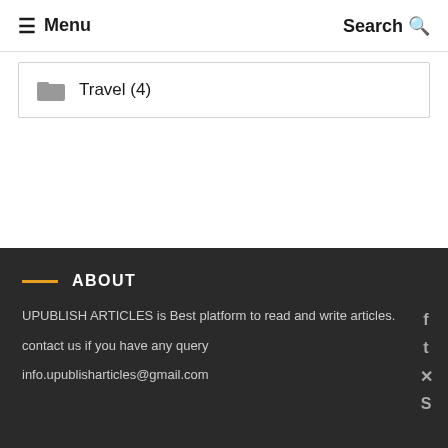☰ Menu   Search 🔍
Travel (4)
ABOUT
UPUBLISH ARTICLES is Best platform to read and write articles.
contact us if you have any query
info.upublisharticles@gmail.com